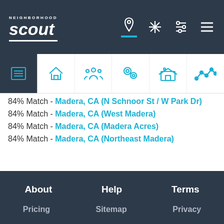NeighborhoodScout navigation bar with logo and icons
[Figure (screenshot): Category tab icons: list/overview (active, dark background), home, people/demographics, location/crime, school, trending/graph]
84% Match - Madera, CA (N Schnoor St / W Park Dr)
84% Match - Madera, CA (West Madera)
84% Match - Madera, CA (Madera Acres)
84% Match - Madera, CA (Northeast Madera)
About   Help   Terms
Pricing   Sitemap   Privacy